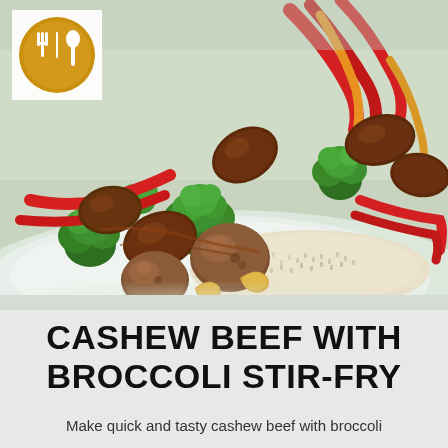[Figure (photo): A plate of cashew beef with broccoli stir-fry — stir-fried beef slices, broccoli florets, red and yellow bell pepper strips, cashew nuts, served over white rice, with a golden restaurant logo (fork and spoon inside a circle) overlaid in top-left corner]
CASHEW BEEF WITH BROCCOLI STIR-FRY
Make quick and tasty cashew beef with broccoli